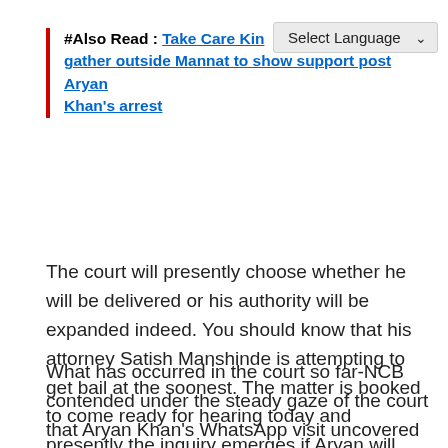#Also Read : Take Care Kin...ns gather outside Mannat to show support post Aryan Khan's arrest
The court will presently choose whether he will be delivered or his authority will be expanded indeed. You should know that his attorney Satish Manshinde is attempting to get bail at the soonest. The matter is booked to come ready for hearing today and presently the inquiry emerges if Aryan will actually want to get bail.
What has occurred in the court so far-NCB contended under the steady gaze of the court that Aryan Khan's WhatsApp visit uncovered that he was additionally in contact with an unfamiliar medications seller. Simultaneously, NCB let the court know that "he had